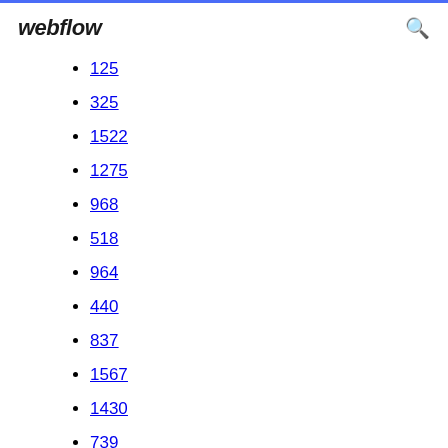webflow
125
325
1522
1275
968
518
964
440
837
1567
1430
739
1712